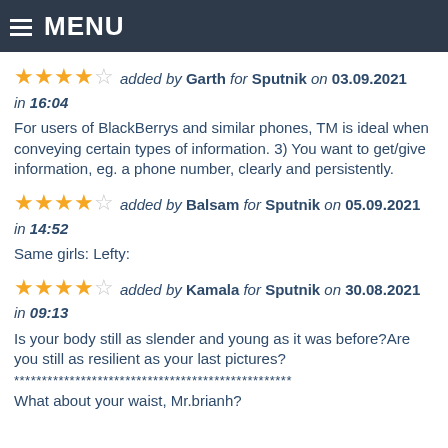MENU
★★★★☆ added by Garth for Sputnik on 03.09.2021 in 16:04
For users of BlackBerrys and similar phones, TM is ideal when conveying certain types of information. 3) You want to get/give information, eg. a phone number, clearly and persistently.
★★★★☆ added by Balsam for Sputnik on 05.09.2021 in 14:52
Same girls: Lefty:
★★★★☆ added by Kamala for Sputnik on 30.08.2021 in 09:13
Is your body still as slender and young as it was before?Are you still as resilient as your last pictures?
**************************************************
What about your waist, Mr.brianh?